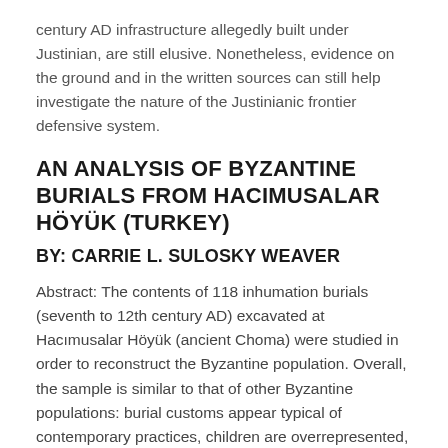century AD infrastructure allegedly built under Justinian, are still elusive. Nonetheless, evidence on the ground and in the written sources can still help investigate the nature of the Justinianic frontier defensive system.
AN ANALYSIS OF BYZANTINE BURIALS FROM HACIMUSALAR HÖYÜK (TURKEY)
BY: CARRIE L. SULOSKY WEAVER
Abstract: The contents of 118 inhumation burials (seventh to 12th century AD) excavated at Hacımusalar Höyük (ancient Choma) were studied in order to reconstruct the Byzantine population. Overall, the sample is similar to that of other Byzantine populations: burial customs appear typical of contemporary practices, children are overrepresented, males and females are represented roughly equally and heights fall